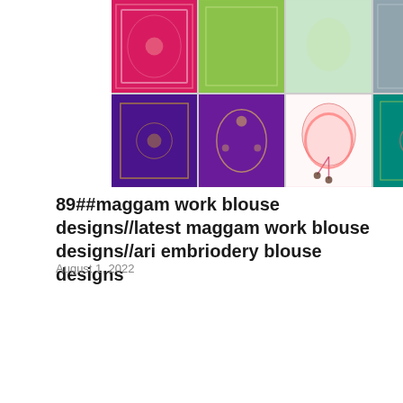[Figure (photo): Collage of 8 embroidered blouse designs in a 4x2 grid: pink saree with embroidery, yellow-purple silk, lime green, grey-blue; bottom row: purple with gold embroidery, pink with floral design, pink with hanging earrings, teal with colorful embroidery]
89##maggam work blouse designs//latest maggam work blouse designs//ari embriodery blouse designs
August 1, 2022
[Figure (photo): Three-panel image showing bridal maggam work blouse designs: colorful red-green embroidered sleeve, gold embroidered sleeve, and teal with gold circular patterns. Overlay text at bottom reads 'Latest Bridal Maggam work designs' in orange/red bold italic text.]